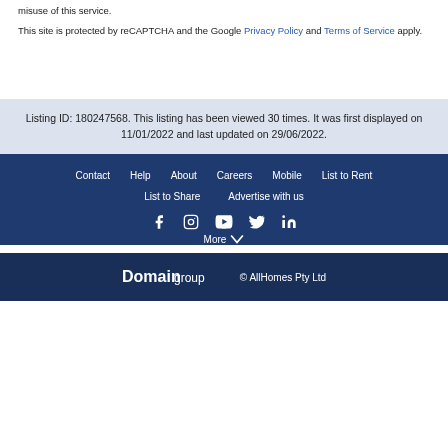misuse of this service.
This site is protected by reCAPTCHA and the Google Privacy Policy and Terms of Service apply.
Listing ID: 180247568. This listing has been viewed 30 times. It was first displayed on 11/01/2022 and last updated on 29/06/2022.
Contact  Help  About  Careers  Mobile  List to Rent  List to Share  Advertise with us  [social icons]  More  Domain group  © AllHomes Pty Ltd